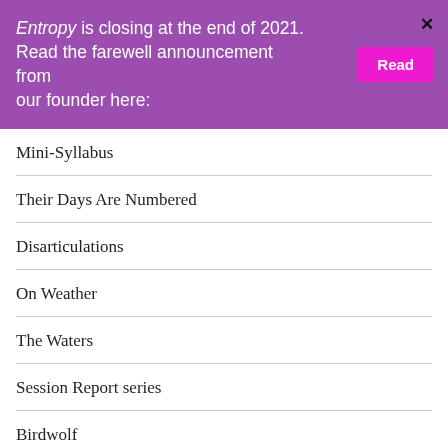Entropy is closing at the end of 2021. Read the farewell announcement from our founder here:
Mini-Syllabus
Their Days Are Numbered
Disarticulations
On Weather
The Waters
Session Report series
Birdwolf